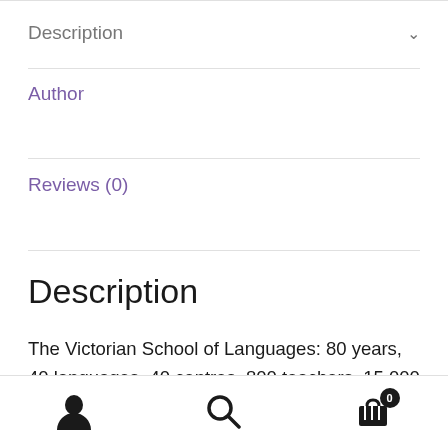Description
Author
Reviews (0)
Description
The Victorian School of Languages: 80 years, 40 languages, 40 centres, 800 teachers, 15,000 students—traversing both formal and informal spaces for delivering languages within the Victorian